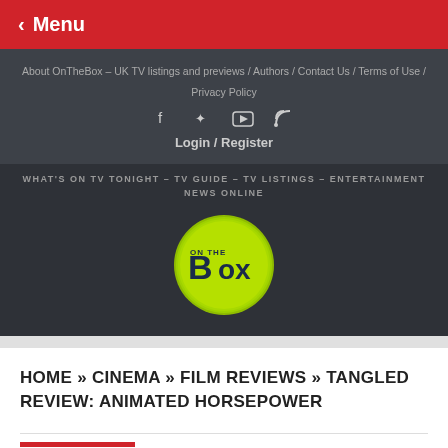< Menu
About OnTheBox – UK TV listings and previews / Authors / Contact Us / Terms of Use / Privacy Policy
[Figure (other): Social media icons: Facebook, Twitter, YouTube, RSS feed]
Login / Register
WHAT'S ON TV TONIGHT – TV GUIDE – TV LISTINGS – ENTERTAINMENT NEWS ONLINE
[Figure (logo): OnTheBox logo: green circle with 'B ON THE BOX' in dark text]
HOME » CINEMA » FILM REVIEWS » TANGLED REVIEW: ANIMATED HORSEPOWER